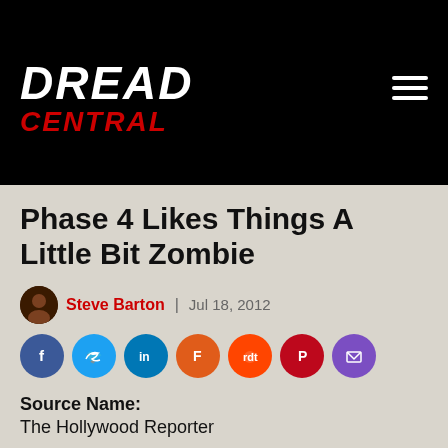[Figure (logo): Dread Central logo in white and red on black background, with hamburger menu icon on the right]
Phase 4 Likes Things A Little Bit Zombie
Steve Barton | Jul 18, 2012
[Figure (infographic): Social share icons: Facebook, Twitter, LinkedIn, Flipboard, Reddit, Pinterest, Email]
Source Name:
The Hollywood Reporter